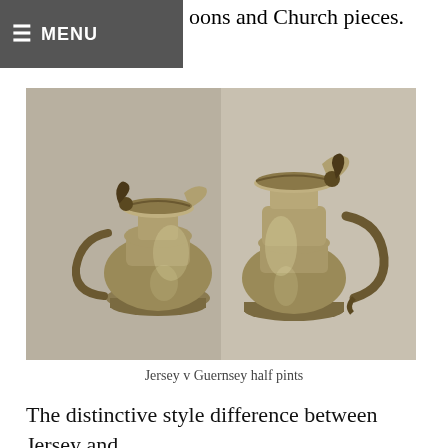MENU
oons and Church pieces.
[Figure (photo): Two antique pewter pitchers/flagons side by side on a shelf. The left pitcher is shorter and squatter (Jersey style), the right is taller and more elegant (Guernsey style). Both have hinged lids with decorative thumbpieces and curved handles. They appear to be photographed in a corner setting.]
Jersey v Guernsey half pints
The distinctive style difference between Jersey and